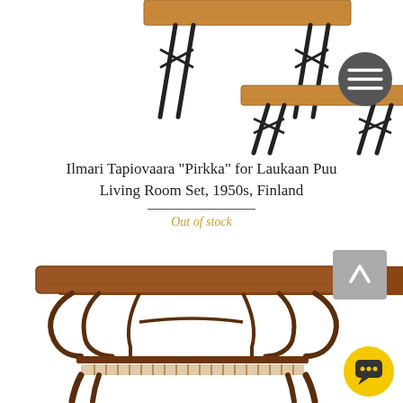[Figure (photo): Top portion of a wooden bench/table set with dark metal legs, Ilmari Tapiovaara Pirkka design, white background. A dark grey circular hamburger menu button is visible in the upper right.]
Ilmari Tapiovaara "Pirkka" for Laukaan Puu Living Room Set, 1950s, Finland
Out of stock
[Figure (photo): A mid-century modern wooden coffee table with a walnut top, curved legs, and a lower shelf with string/cane webbing. A grey scroll-to-top arrow button and a yellow chat button are visible at the right side.]